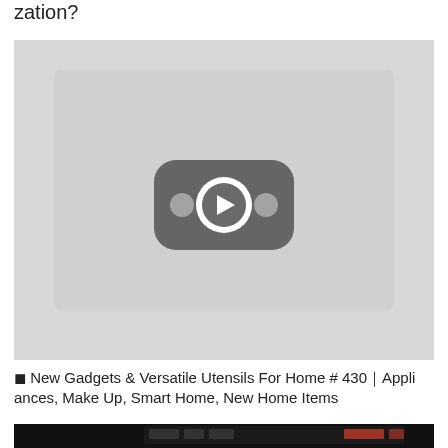zation?
[Figure (screenshot): YouTube-style video thumbnail placeholder with gray background and a YouTube play button icon (rounded rectangle with play triangle and two dots) in the center]
⬛ New Gadgets & Versatile Utensils For Home # 430｜Appliances, Make Up, Smart Home, New Home Items
[Figure (screenshot): Partial screenshot of a software application with dark/black background showing a toolbar and interface elements at the bottom of the page]